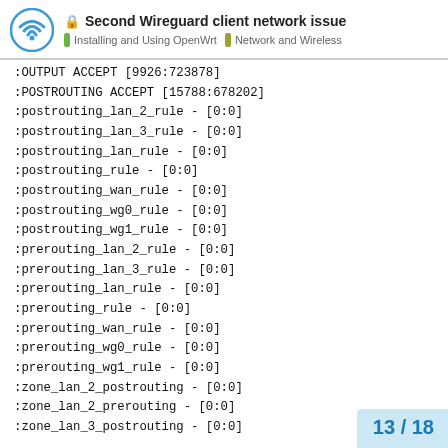🔒 Second Wireguard client network issue | Installing and Using OpenWrt | Network and Wireless
:OUTPUT ACCEPT [9926:723878]
:POSTROUTING ACCEPT [15788:678202]
:postrouting_lan_2_rule - [0:0]
:postrouting_lan_3_rule - [0:0]
:postrouting_lan_rule - [0:0]
:postrouting_rule - [0:0]
:postrouting_wan_rule - [0:0]
:postrouting_wg0_rule - [0:0]
:postrouting_wg1_rule - [0:0]
:prerouting_lan_2_rule - [0:0]
:prerouting_lan_3_rule - [0:0]
:prerouting_lan_rule - [0:0]
:prerouting_rule - [0:0]
:prerouting_wan_rule - [0:0]
:prerouting_wg0_rule - [0:0]
:prerouting_wg1_rule - [0:0]
:zone_lan_2_postrouting - [0:0]
:zone_lan_2_prerouting - [0:0]
:zone_lan_3_postrouting - [0:0]
13 / 18